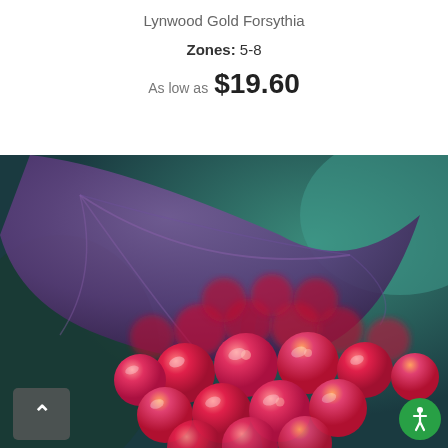Lynwood Gold Forsythia
Zones: 5-8
As low as $19.60
[Figure (photo): Close-up photograph of bright red/pink berries clustered together with a large purple-green leaf visible in the background. The berries are shiny and round, arranged in a bunch. Background is blurred with teal and dark tones.]